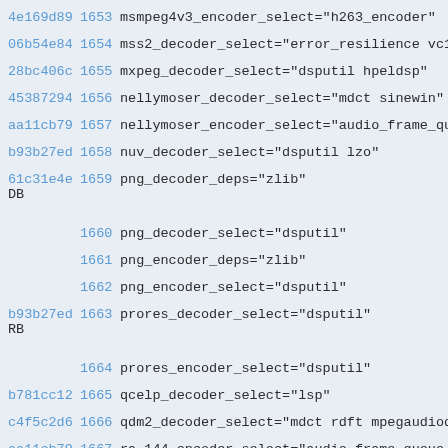4e169d89  1653  msmpeg4v3_encoder_select="h263_encoder"
06b54e84  1654  mss2_decoder_select="error_resilience vc1
28bc406c  1655  mxpeg_decoder_select="dsputil hpeldsp"
45387294  1656  nellymoser_decoder_select="mdct sinewin"
aa11cb79  1657  nellymoser_encoder_select="audio_frame_qu
b93b27ed  1658  nuv_decoder_select="dsputil lzo"
61c31e4e  1659  png_decoder_deps="zlib"
DB
1660  png_decoder_select="dsputil"
1661  png_encoder_deps="zlib"
1662  png_encoder_select="dsputil"
b93b27ed  1663  prores_decoder_select="dsputil"
RB
1664  prores_encoder_select="dsputil"
b781cc12  1665  qcelp_decoder_select="lsp"
c4f5c2d6  1666  qdm2_decoder_select="mdct rdft mpegaudiod
aa11cb79  1667  ra_144_encoder_select="audio_frame_queue